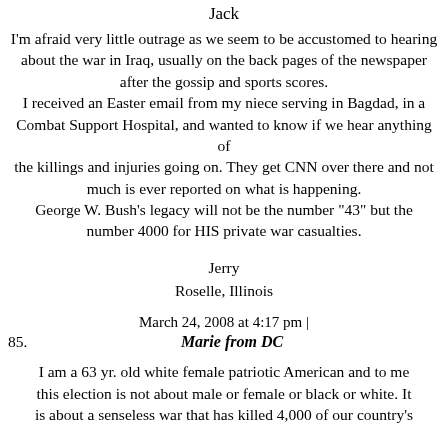Jack
I'm afraid very little outrage as we seem to be accustomed to hearing about the war in Iraq, usually on the back pages of the newspaper after the gossip and sports scores. I received an Easter email from my niece serving in Bagdad, in a Combat Support Hospital, and wanted to know if we hear anything of the killings and injuries going on. They get CNN over there and not much is ever reported on what is happening. George W. Bush's legacy will not be the number "43" but the number 4000 for HIS private war casualties.
Jerry
Roselle, Illinois
March 24, 2008 at 4:17 pm |
85.   Marie from DC
I am a 63 yr. old white female patriotic American and to me this election is not about male or female or black or white. It is about a senseless war that has killed 4,000 of our country's